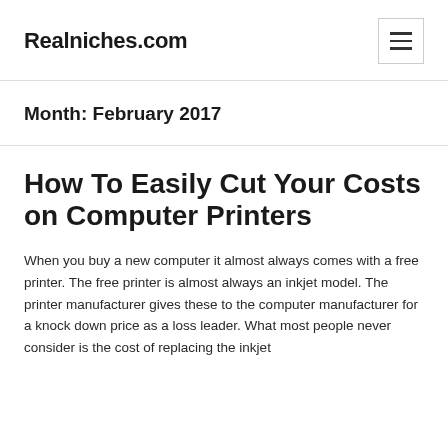Realniches.com
Month: February 2017
How To Easily Cut Your Costs on Computer Printers
When you buy a new computer it almost always comes with a free printer. The free printer is almost always an inkjet model. The printer manufacturer gives these to the computer manufacturer for a knock down price as a loss leader. What most people never consider is the cost of replacing the inkjet